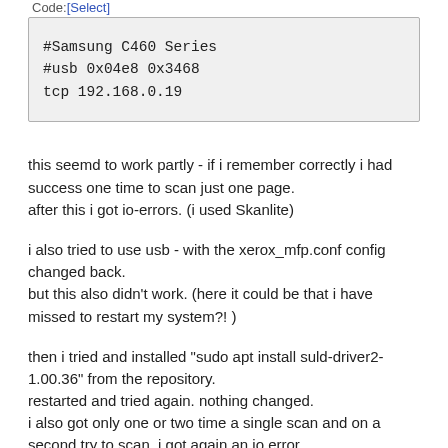Code:[Select]
#Samsung C460 Series
#usb 0x04e8 0x3468
tcp 192.168.0.19
this seemd to work partly - if i remember correctly i had success one time to scan just one page.
after this i got io-errors. (i used Skanlite)
i also tried to use usb - with the xerox_mfp.conf config changed back.
but this also didn't work. (here it could be that i have missed to restart my system?! )
then i tried and installed "sudo apt install suld-driver2-1.00.36" from the repository.
restarted and tried again. nothing changed.
i also got only one or two time a single scan and on a second try to scan  i got again an io error.
iam a bit lost how to debug this.